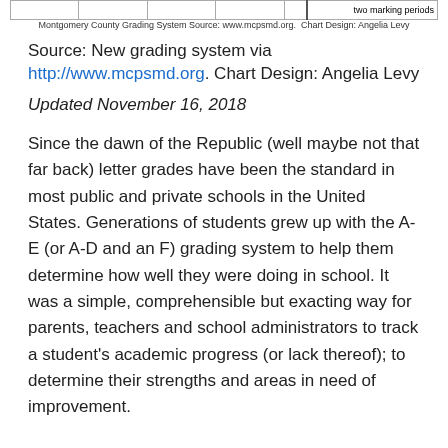|  |  |  |  |  | two marking periods |
Montgomery County Grading System Source: www.mcpsmd.org.  Chart Design: Angelia Levy
Source: New grading system via http://www.mcpsmd.org. Chart Design: Angelia Levy
Updated November 16, 2018
Since the dawn of the Republic (well maybe not that far back) letter grades have been the standard in most public and private schools in the United States. Generations of students grew up with the A-E (or A-D and an F) grading system to help them determine how well they were doing in school. It was a simple, comprehensible but exacting way for parents, teachers and school administrators to track a student's academic progress (or lack thereof); to determine their strengths and areas in need of improvement.